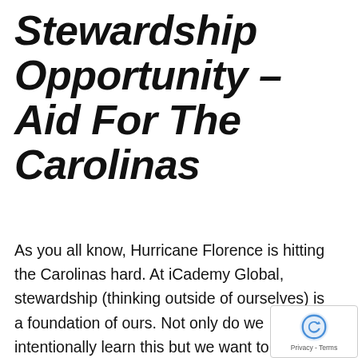Stewardship Opportunity – Aid For The Carolinas
As you all know, Hurricane Florence is hitting the Carolinas hard. At iCademy Global, stewardship (thinking outside of ourselves) is a foundation of ours. Not only do we intentionally learn this but we want to also intentionally LIVE this. Attached you will see a few images of ways that we can help. Partnering with International Aid and The Tin Roof Market- we would like to provide you and your family a stewardship opportunity to donate items for International Aid to send to the Carolinas. The Tin Roof Market of Holland is an official drop off for these items and we will be collecting items at Homestead starting Tuesday, the